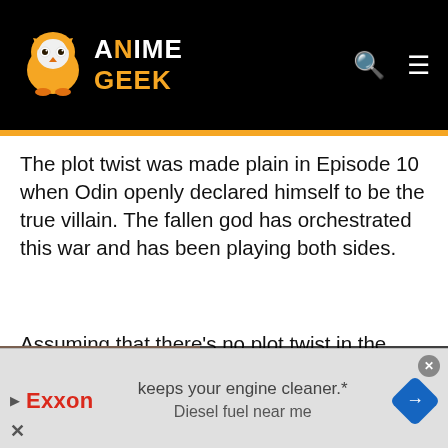[Figure (logo): Anime Geek website logo with owl mascot on black header background]
The plot twist was made plain in Episode 10 when Odin openly declared himself to be the true villain. The fallen god has orchestrated this war and has been playing both sides.
Assuming that there's no plot twist in the
[Figure (screenshot): Video player overlay showing error message: 'The media could not be loaded, either because the server or network failed or because the format is not supported.' with title 'Howl's Moving Castle (Studio Ghibli Fest 2022 Fathom Events Trailer)']
seems to have slammed the door shut on a
[Figure (infographic): Exxon advertisement banner: 'keeps your engine cleaner.* Diesel fuel near me' with Exxon logo and blue directional sign icon]